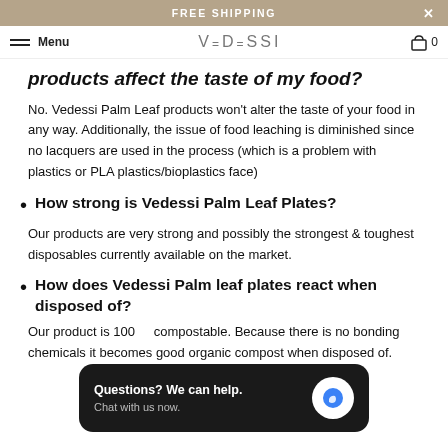FREE SHIPPING
Menu | VEDESSI | 0
products affect the taste of my food?
No. Vedessi Palm Leaf products won't alter the taste of your food in any way. Additionally, the issue of food leaching is diminished since no lacquers are used in the process (which is a problem with plastics or PLA plastics/bioplastics face)
How strong is Vedessi Palm Leaf Plates?
Our products are very strong and possibly the strongest & toughest disposables currently available on the market.
How does Vedessi Palm leaf plates react when disposed of?
Our product is 100% [compostable]. Because there is no bonding [agents or chemicals] it becomes good organic compost when disposed of.
Questions? We can help. Chat with us now.